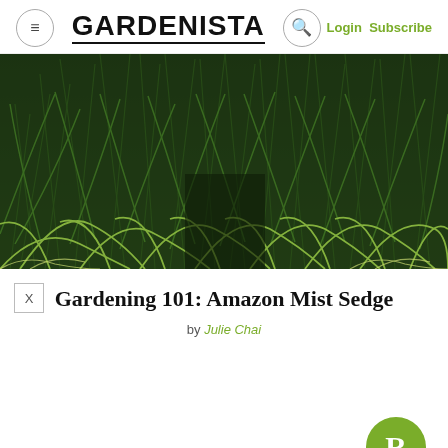≡  GARDENISTA  🔍  Login Subscribe
[Figure (photo): Close-up photograph of Amazon Mist Sedge grass plants with long, arching, fine green blades in varying shades of green and yellow-green]
Gardening 101: Amazon Mist Sedge
by Julie Chai